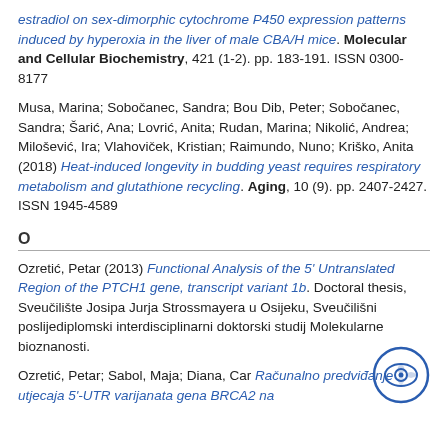estradiol on sex-dimorphic cytochrome P450 expression patterns induced by hyperoxia in the liver of male CBA/H mice. Molecular and Cellular Biochemistry, 421 (1-2). pp. 183-191. ISSN 0300-8177
Musa, Marina; Sobočanec, Sandra; Bou Dib, Peter; Sobočanec, Sandra; Šarić, Ana; Lovrić, Anita; Rudan, Marina; Nikolić, Andrea; Milošević, Ira; Vlahoviček, Kristian; Raimundo, Nuno; Kriško, Anita (2018) Heat-induced longevity in budding yeast requires respiratory metabolism and glutathione recycling. Aging, 10 (9). pp. 2407-2427. ISSN 1945-4589
O
Ozretić, Petar (2013) Functional Analysis of the 5' Untranslated Region of the PTCH1 gene, transcript variant 1b. Doctoral thesis, Sveučilište Josipa Jurja Strossmayera u Osijeku, Sveučilišni poslijediplomski interdisciplinarni doktorski studij Molekularne bioznanosti.
Ozretić, Petar; Sabol, Maja; Diana, Car Računalno predviđanje utjecaja 5'-UTR varijanata gena BRCA2 na
[Figure (logo): Circular blue logo with a stylized eye and leaf/fish motif inside]